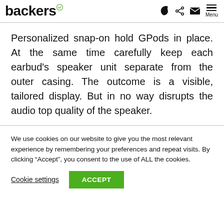backers® [icons: moon, share, mail, menu]
Personalized snap-on hold GPods in place. At the same time carefully keep each earbud's speaker unit separate from the outer casing. The outcome is a visible, tailored display. But in no way disrupts the audio top quality of the speaker.
We use cookies on our website to give you the most relevant experience by remembering your preferences and repeat visits. By clicking “Accept”, you consent to the use of ALL the cookies.
Cookie settings  ACCEPT